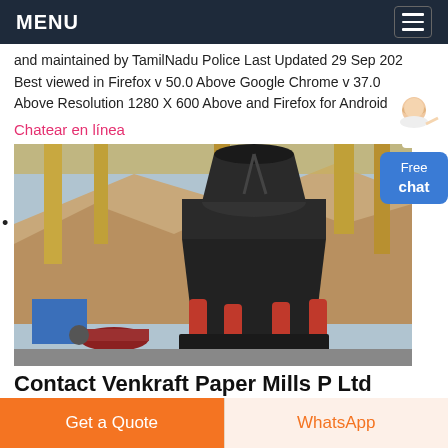MENU
and maintained by TamilNadu Police Last Updated 29 Sep 202 Best viewed in Firefox v 50.0 Above Google Chrome v 37.0 Above Resolution 1280 X 600 Above and Firefox for Android
Chatear en línea
[Figure (photo): Large industrial cone crusher machine installed at a mining site, with yellow structural steel framing and mountainous excavation site in the background.]
Contact Venkraft Paper Mills P Ltd
Get a Quote
WhatsApp